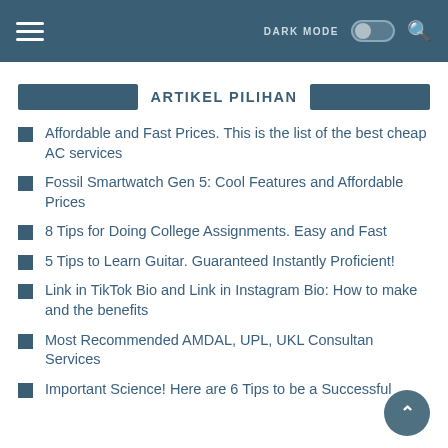DARK MODE [toggle] [search]
ARTIKEL PILIHAN
Affordable and Fast Prices. This is the list of the best cheap AC services
Fossil Smartwatch Gen 5: Cool Features and Affordable Prices
8 Tips for Doing College Assignments. Easy and Fast
5 Tips to Learn Guitar. Guaranteed Instantly Proficient!
Link in TikTok Bio and Link in Instagram Bio: How to make and the benefits
Most Recommended AMDAL, UPL, UKL Consultancy Services
Important Science! Here are 6 Tips to be a Successful